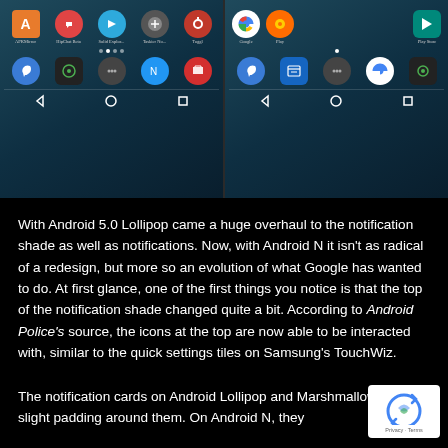[Figure (screenshot): Two Android phone screenshots side by side showing home screens with app icons (APKMirror, HipChat Beta, Solid Explorer, Taskier No, Toggl on left; Google, Play, Play Store on right), dock icons, navigation dots, and bottom navigation bars with back/home/recents buttons.]
With Android 5.0 Lollipop came a huge overhaul to the notification shade as well as notifications. Now, with Android N it isn't as radical of a redesign, but more so an evolution of what Google has wanted to do. At first glance, one of the first things you notice is that the top of the notification shade changed quite a bit. According to Android Police's source, the icons at the top are now able to be interacted with, similar to the quick settings tiles on Samsung's TouchWiz.
The notification cards on Android Lollipop and Marshmallow have a slight padding around them. On Android N, they